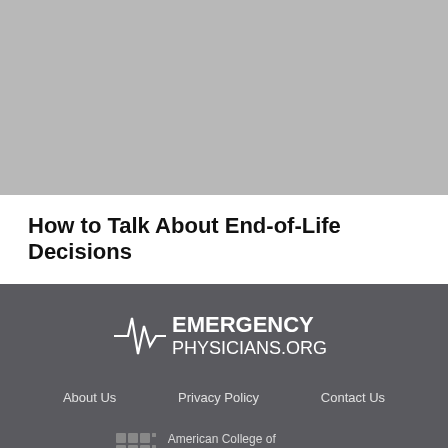[Figure (photo): Gray placeholder image at top of page]
How to Talk About End-of-Life Decisions
[Figure (logo): EmergencyPhysicians.org logo with ECG waveform graphic in white on dark gray background]
About Us   Privacy Policy   Contact Us
[Figure (logo): American College of Emergency Physicians logo with grid icon and tagline ADVANCING EMERGENCY CARE]